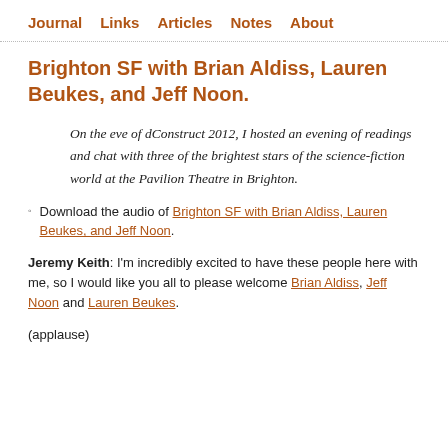Journal  Links  Articles  Notes  About
Brighton SF with Brian Aldiss, Lauren Beukes, and Jeff Noon.
On the eve of dConstruct 2012, I hosted an evening of readings and chat with three of the brightest stars of the science-fiction world at the Pavilion Theatre in Brighton.
Download the audio of Brighton SF with Brian Aldiss, Lauren Beukes, and Jeff Noon.
Jeremy Keith: I'm incredibly excited to have these people here with me, so I would like you all to please welcome Brian Aldiss, Jeff Noon and Lauren Beukes.
(applause)